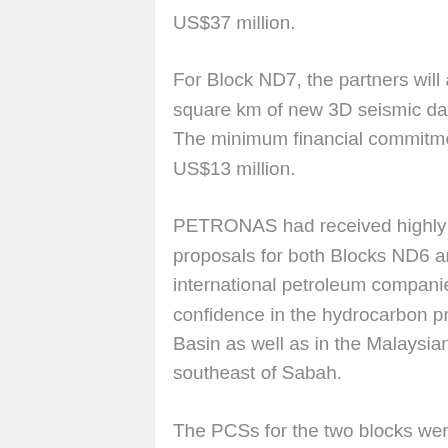US$37 million.
For Block ND7, the partners will acquire and process 800 square km of new 3D seismic data and drill one wildcat. The minimum financial commitment for the block is US$13 million.
PETRONAS had received highly competitive bid proposals for both Blocks ND6 and ND7 from international petroleum companies, reflecting their confidence in the hydrocarbon prospects in the Tarakan Basin as well as in the Malaysian deepwater areas southeast of Sabah.
The PCSs for the two blocks were